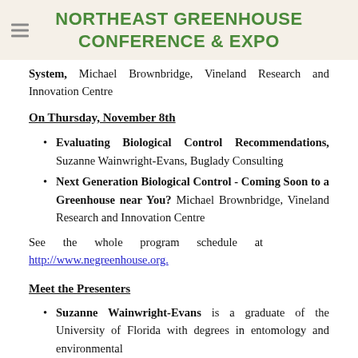NORTHEAST GREENHOUSE CONFERENCE & EXPO
System, Michael Brownbridge, Vineland Research and Innovation Centre
On Thursday, November 8th
Evaluating Biological Control Recommendations, Suzanne Wainwright-Evans, Buglady Consulting
Next Generation Biological Control - Coming Soon to a Greenhouse near You? Michael Brownbridge, Vineland Research and Innovation Centre
See the whole program schedule at http://www.negreenhouse.org.
Meet the Presenters
Suzanne Wainwright-Evans is a graduate of the University of Florida with degrees in entomology and environmental